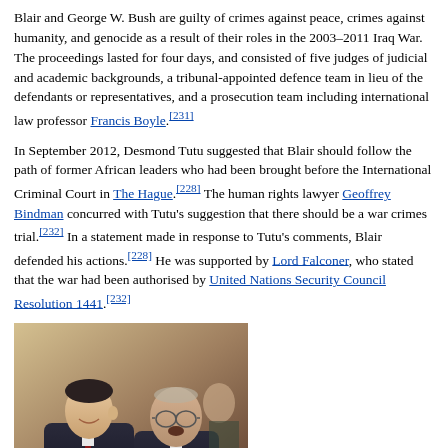Blair and George W. Bush are guilty of crimes against peace, crimes against humanity, and genocide as a result of their roles in the 2003–2011 Iraq War. The proceedings lasted for four days, and consisted of five judges of judicial and academic backgrounds, a tribunal-appointed defence team in lieu of the defendants or representatives, and a prosecution team including international law professor Francis Boyle.[231]
In September 2012, Desmond Tutu suggested that Blair should follow the path of former African leaders who had been brought before the International Criminal Court in The Hague.[228] The human rights lawyer Geoffrey Bindman concurred with Tutu's suggestion that there should be a war crimes trial.[232] In a statement made in response to Tutu's comments, Blair defended his actions.[228] He was supported by Lord Falconer, who stated that the war had been authorised by United Nations Security Council Resolution 1441.[232]
[Figure (photo): Photograph of two men in formal attire, one younger dark-haired man on the left and one elderly man on the right, appearing to be in conversation at a formal event.]